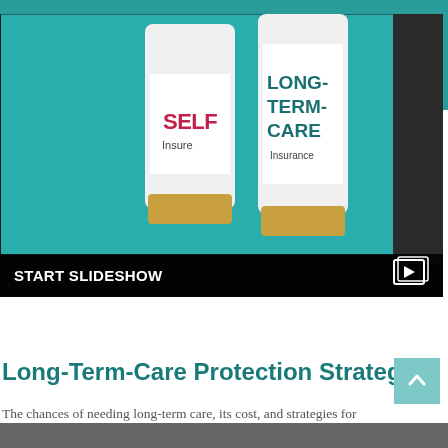[Figure (photo): Photograph of a tablet screen showing two pill bottles labeled 'SELF Insure' and 'LONG-TERM-CARE Insurance' against a teal background, with a 'START SLIDESHOW' overlay bar at the bottom.]
Long-Term-Care Protection Strategies
The chances of needing long-term care, its cost, and strategies for covering that cost.